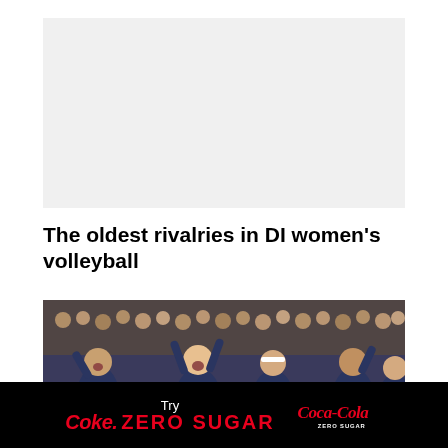[Figure (other): Light gray advertisement placeholder rectangle]
The oldest rivalries in DI women's volleyball
[Figure (photo): Women's volleyball players in navy blue uniforms celebrating with raised fists, crowd visible in background]
[Figure (other): Coca-Cola Zero Sugar advertisement banner with black background showing 'Try Coke Zero Sugar' text and Coca-Cola logo]